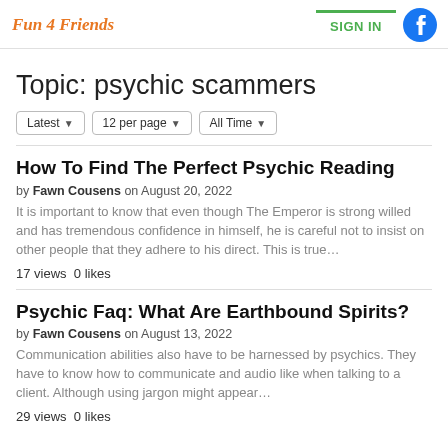Fun 4 Friends | SIGN IN
Topic: psychic scammers
Latest  12 per page  All Time
How To Find The Perfect Psychic Reading
by Fawn Cousens on August 20, 2022
It is important to know that even though The Emperor is strong willed and has tremendous confidence in himself, he is careful not to insist on other people that they adhere to his direct. This is true…
17 views  0 likes
Psychic Faq: What Are Earthbound Spirits?
by Fawn Cousens on August 13, 2022
Communication abilities also have to be harnessed by psychics. They have to know how to communicate and audio like when talking to a client. Although using jargon might appear…
29 views  0 likes